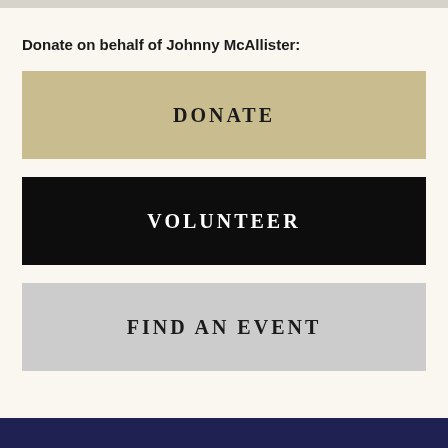Donate on behalf of Johnny McAllister:
[Figure (other): Tan/khaki colored button with text DONATE in uppercase serif letters]
[Figure (other): Black button with text VOLUNTEER in uppercase white serif letters]
[Figure (other): Light gray button with text FIND AN EVENT in uppercase serif letters]